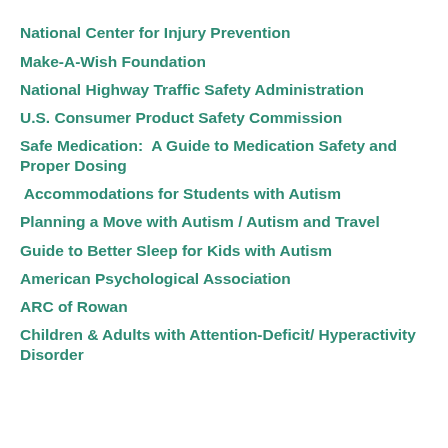National Center for Injury Prevention
Make-A-Wish Foundation
National Highway Traffic Safety Administration
U.S. Consumer Product Safety Commission
Safe Medication:  A Guide to Medication Safety and Proper Dosing
Accommodations for Students with Autism
Planning a Move with Autism / Autism and Travel
Guide to Better Sleep for Kids with Autism
American Psychological Association
ARC of Rowan
Children & Adults with Attention-Deficit/ Hyperactivity Disorder